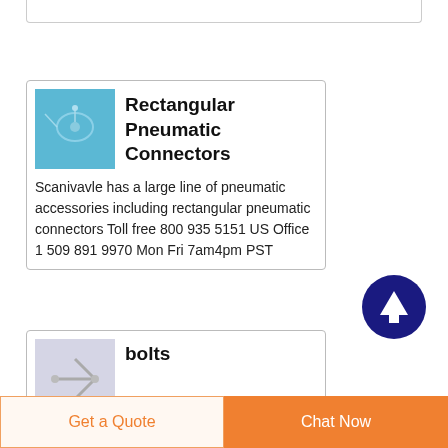[Figure (other): Card showing Rectangular Pneumatic Connectors with a blue thumbnail image of a pneumatic connector and descriptive text]
Rectangular Pneumatic Connectors
Scanivavle has a large line of pneumatic accessories including rectangular pneumatic connectors Toll free 800 935 5151 US Office 1 509 891 9970 Mon Fri 7am4pm PST
[Figure (other): Card showing bolts with a light purple/grey thumbnail image and text beginning 'I interested in joining']
bolts
I interested in joining